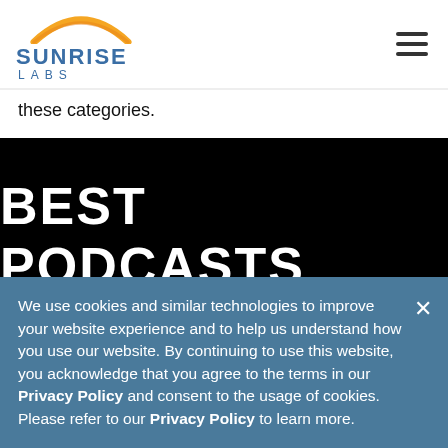SUNRISE LABS
these categories.
[Figure (other): Black banner with white bold text reading BEST PODCASTS]
We use cookies and similar technologies to improve your website experience and to help us understand how you use our website. By continuing to use this website, you acknowledge that you agree to the terms in our Privacy Policy and consent to the usage of cookies. Please refer to our Privacy Policy to learn more.